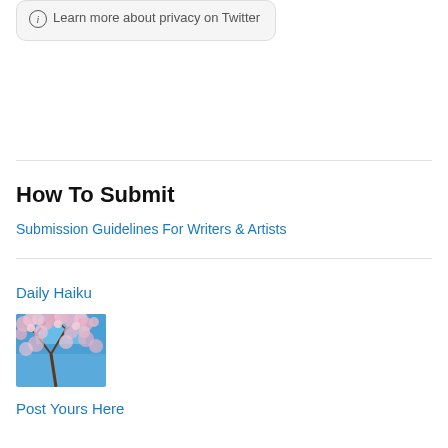Learn more about privacy on Twitter
How To Submit
Submission Guidelines For Writers & Artists
Daily Haiku
[Figure (photo): Cherry blossom tree branches with pink flowers against a blue sky]
Post Yours Here